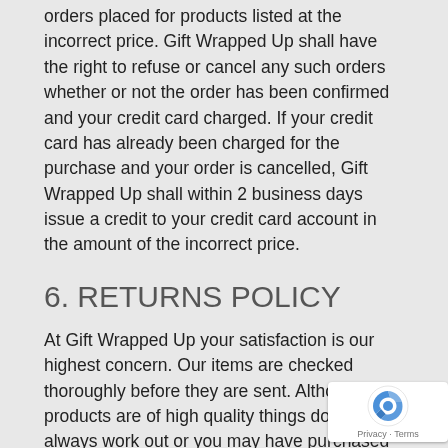orders placed for products listed at the incorrect price. Gift Wrapped Up shall have the right to refuse or cancel any such orders whether or not the order has been confirmed and your credit card charged. If your credit card has already been charged for the purchase and your order is cancelled, Gift Wrapped Up shall within 2 business days issue a credit to your credit card account in the amount of the incorrect price.
6. RETURNS POLICY
At Gift Wrapped Up your satisfaction is our highest concern. Our items are checked thoroughly before they are sent. Although our products are of high quality things don't always work out or you may have purchased the wrong size or colour. If for any reason you're dissatisfied with your purchase, you can return the merchandise for a full refund less postage/shipping costs. Conditions do apply and are listed below.
All items returned must be in new and an unused cond... in original packaging, labels intact and unused, and a copy of...